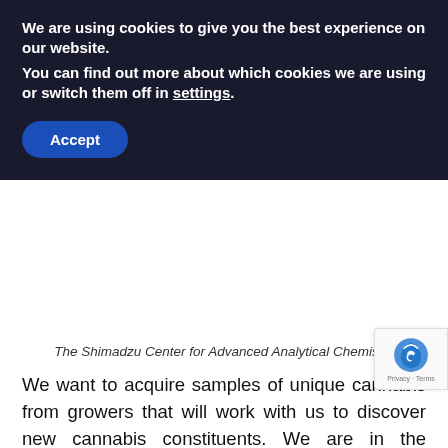We are using cookies to give you the best experience on our website.
You can find out more about which cookies we are using or switch them off in settings.
Accept
The Shimadzu Center for Advanced Analytical Chemistry
We want to acquire samples of unique cannabis from growers that will work with us to discover new cannabis constituents. We are in the process of getting a DEA license so that we can send products across state lines to the center at UT Arlington to perform the advanced characterization. They have instrumentation that only a handful of people in the world have access to, which gives us the best opportunity to explore the unknown. When we discover new molecules, fi[nd out] what they do on the molecular level, we can then [study] these compounds and ultimately use this newfound